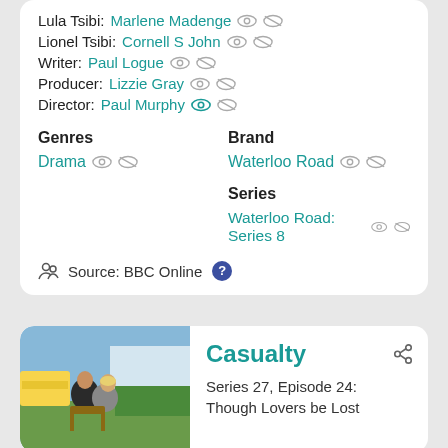Lula Tsibi: Marlene Madenge
Lionel Tsibi: Cornell S John
Writer: Paul Logue
Producer: Lizzie Gray
Director: Paul Murphy
Genres
Brand
Drama
Waterloo Road
Series
Waterloo Road: Series 8
Source: BBC Online
Casualty
Series 27, Episode 24: Though Lovers be Lost
[Figure (photo): Two people sitting outdoors, one comforting the other, with emergency vehicles in background]